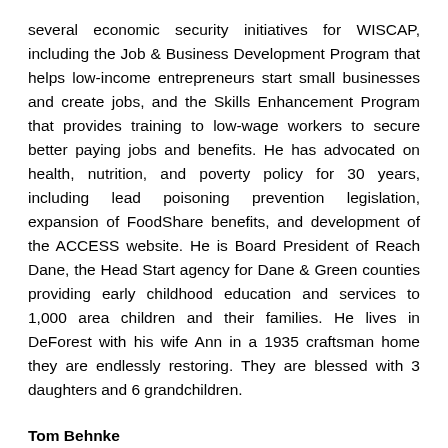several economic security initiatives for WISCAP, including the Job & Business Development Program that helps low-income entrepreneurs start small businesses and create jobs, and the Skills Enhancement Program that provides training to low-wage workers to secure better paying jobs and benefits. He has advocated on health, nutrition, and poverty policy for 30 years, including lead poisoning prevention legislation, expansion of FoodShare benefits, and development of the ACCESS website. He is Board President of Reach Dane, the Head Start agency for Dane & Green counties providing early childhood education and services to 1,000 area children and their families. He lives in DeForest with his wife Ann in a 1935 craftsman home they are endlessly restoring. They are blessed with 3 daughters and 6 grandchildren.
Tom Behnke
Finance Specialist
tbehnke@wiscap.org
Tom joins the WISCAP team as their Finance Specialist. In this role, Tom will work closely with Diane Austin, WISCAP's